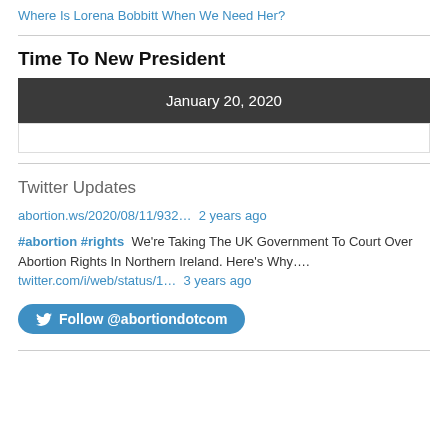Where Is Lorena Bobbitt When We Need Her?
Time To New President
[Figure (other): Dark grey bar showing date 'January 20, 2020' with a white bar below it, forming a calendar/date widget]
Twitter Updates
abortion.ws/2020/08/11/932…  2 years ago
#abortion #rights We're Taking The UK Government To Court Over Abortion Rights In Northern Ireland. Here's Why…. twitter.com/i/web/status/1… 3 years ago
Follow @abortiondotcom